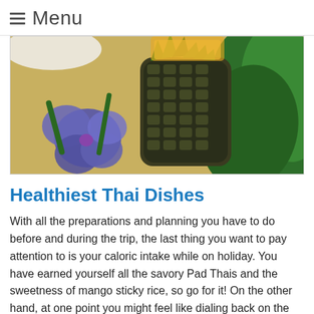Menu
[Figure (photo): Close-up photo of a pineapple with spiky green leaves and textured skin, alongside a blue/purple flower and green tropical leaves on a light background.]
Healthiest Thai Dishes
With all the preparations and planning you have to do before and during the trip, the last thing you want to pay attention to is your caloric intake while on holiday. You have earned yourself all the savory Pad Thais and the sweetness of mango sticky rice, so go for it! On the other hand, at one point you might feel like dialing back on the sodium, fat, and sugar intake a little in order